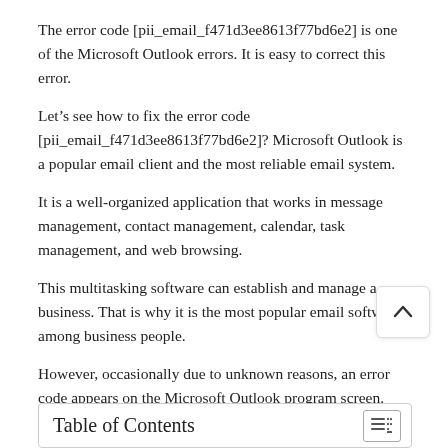The error code [pii_email_f471d3ee8613f77bd6e2] is one of the Microsoft Outlook errors. It is easy to correct this error.
Let’s see how to fix the error code [pii_email_f471d3ee8613f77bd6e2]? Microsoft Outlook is a popular email client and the most reliable email system.
It is a well-organized application that works in message management, contact management, calendar, task management, and web browsing.
This multitasking software can establish and manage a business. That is why it is the most popular email software among business people.
However, occasionally due to unknown reasons, an error code appears on the Microsoft Outlook program screen.
Table of Contents